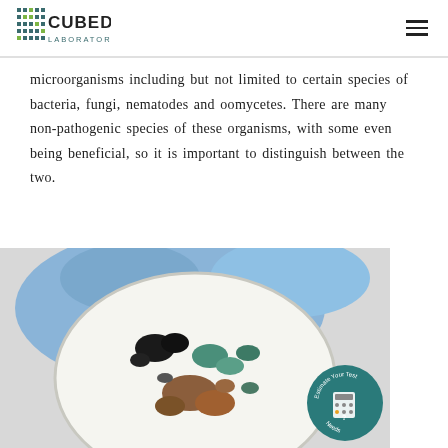CUBED LABORATORIES
microorganisms including but not limited to certain species of bacteria, fungi, nematodes and oomycetes. There are many non-pathogenic species of these organisms, with some even being beneficial, so it is important to distinguish between the two.
[Figure (photo): A gloved hand (blue nitrile glove) holding a petri dish containing a culture with various colored colonies — black, teal/blue-green, and brown/orange patches on a white background.]